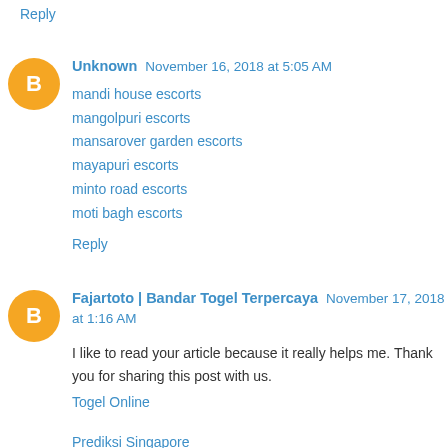Reply
Unknown November 16, 2018 at 5:05 AM
mandi house escorts
mangolpuri escorts
mansarover garden escorts
mayapuri escorts
minto road escorts
moti bagh escorts
Reply
Fajartoto | Bandar Togel Terpercaya November 17, 2018 at 1:16 AM
I like to read your article because it really helps me. Thank you for sharing this post with us.
Togel Online
Prediksi Singapore
Reply